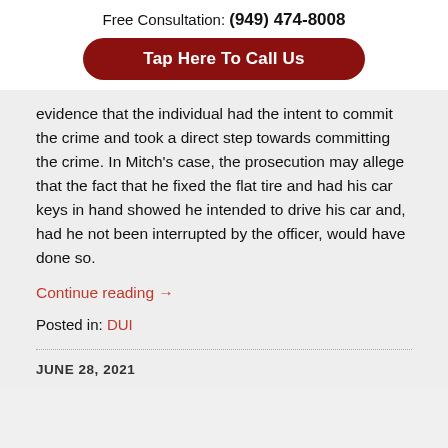Free Consultation: (949) 474-8008
Tap Here To Call Us
evidence that the individual had the intent to commit the crime and took a direct step towards committing the crime. In Mitch's case, the prosecution may allege that the fact that he fixed the flat tire and had his car keys in hand showed he intended to drive his car and, had he not been interrupted by the officer, would have done so.
Continue reading →
Posted in: DUI
JUNE 28, 2021